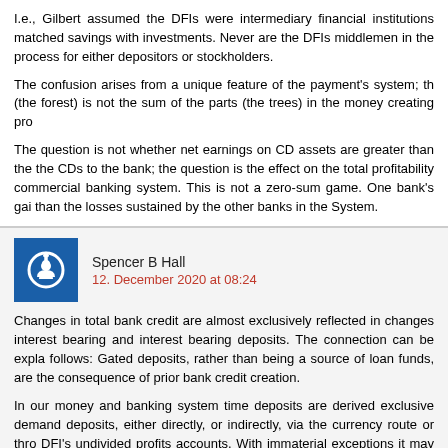I.e., Gilbert assumed the DFIs were intermediary financial institutions matched savings with investments. Never are the DFIs middlemen in the process for either depositors or stockholders.
The confusion arises from a unique feature of the payment's system; th (the forest) is not the sum of the parts (the trees) in the money creating pro
The question is not whether net earnings on CD assets are greater than the the CDs to the bank; the question is the effect on the total profitability commercial banking system. This is not a zero-sum game. One bank's gai than the losses sustained by the other banks in the System.
Spencer B Hall
12. December 2020 at 08:24
Changes in total bank credit are almost exclusively reflected in changes interest bearing and interest bearing deposits. The connection can be expla follows: Gated deposits, rather than being a source of loan funds, are the consequence of prior bank credit creation.
In our money and banking system time deposits are derived exclusive demand deposits, either directly, or indirectly, via the currency route or thro DFI's undivided profits accounts. With immaterial exceptions it may be sai time deposits grow the primary money supply shrinks pari passu—unless an expansion of Reserve Bank credit.